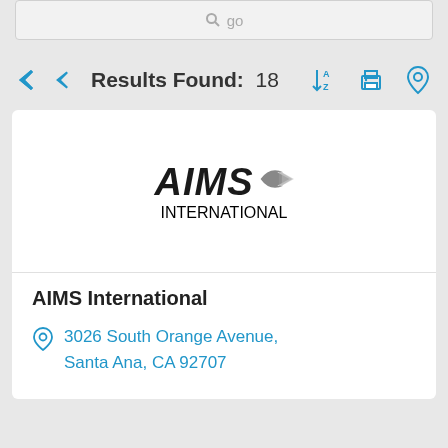[Figure (screenshot): Search box with magnifier icon and 'go' text]
Results Found: 18
[Figure (logo): AIMS International logo with stylized arrow]
AIMS International
3026 South Orange Avenue, Santa Ana, CA 92707